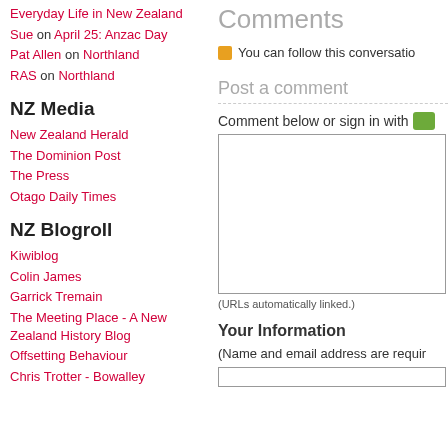Everyday Life in New Zealand
Sue on April 25: Anzac Day
Pat Allen on Northland
RAS on Northland
NZ Media
New Zealand Herald
The Dominion Post
The Press
Otago Daily Times
NZ Blogroll
Kiwiblog
Colin James
Garrick Tremain
The Meeting Place - A New Zealand History Blog
Offsetting Behaviour
Chris Trotter - Bowalley
Comments
You can follow this conversatio
Post a comment
Comment below or sign in with
(URLs automatically linked.)
Your Information
(Name and email address are requir